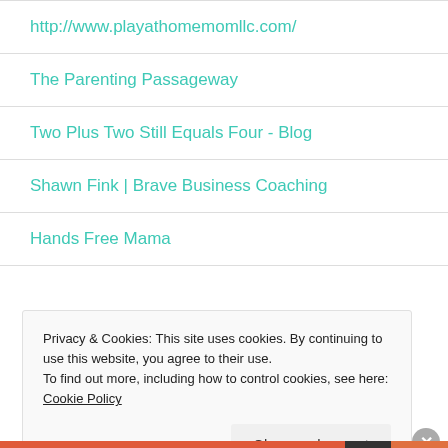http://www.playathomemomllc.com/
The Parenting Passageway
Two Plus Two Still Equals Four - Blog
Shawn Fink | Brave Business Coaching
Hands Free Mama
Privacy & Cookies: This site uses cookies. By continuing to use this website, you agree to their use. To find out more, including how to control cookies, see here: Cookie Policy
Close and accept